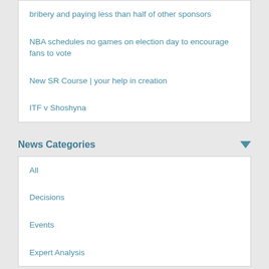bribery and paying less than half of other sponsors
NBA schedules no games on election day to encourage fans to vote
New SR Course | your help in creation
ITF v Shoshyna
News Categories
All
Decisions
Events
Expert Analysis